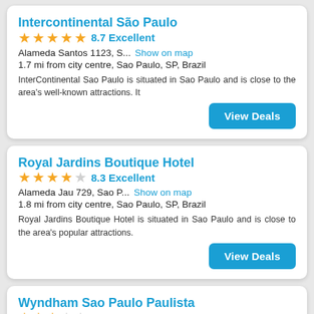Intercontinental São Paulo
★★★★★ 8.7 Excellent
Alameda Santos 1123, S... Show on map
1.7 mi from city centre, Sao Paulo, SP, Brazil
InterContinental Sao Paulo is situated in Sao Paulo and is close to the area's well-known attractions. It
Royal Jardins Boutique Hotel
★★★★☆ 8.3 Excellent
Alameda Jau 729, Sao P... Show on map
1.8 mi from city centre, Sao Paulo, SP, Brazil
Royal Jardins Boutique Hotel is situated in Sao Paulo and is close to the area's popular attractions.
Wyndham Sao Paulo Paulista
★★★☆☆ 8.1 Excellent
Alameda Campinas 540, ... Show on map
1.7 mi from city centre, Sao Paulo, SP, Brazil